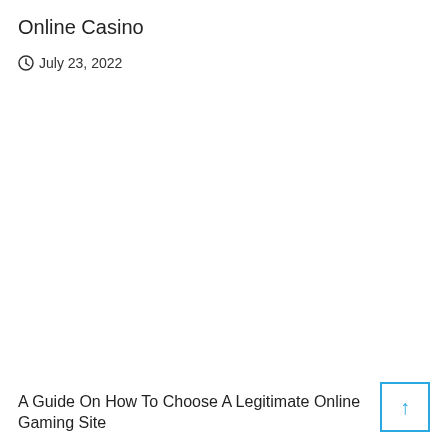Online Casino
July 23, 2022
A Guide On How To Choose A Legitimate Online Gaming Site